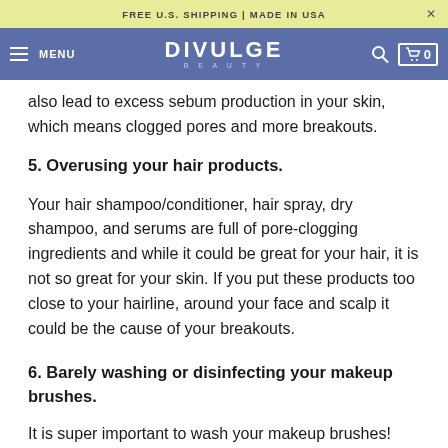FREE U.S. SHIPPING | MADE IN USA
DIVULGE BEAUTY
also lead to excess sebum production in your skin, which means clogged pores and more breakouts.
5. Overusing your hair products.
Your hair shampoo/conditioner, hair spray, dry shampoo, and serums are full of pore-clogging ingredients and while it could be great for your hair, it is not so great for your skin. If you put these products too close to your hairline, around your face and scalp it could be the cause of your breakouts.
6. Barely washing or disinfecting your makeup brushes.
It is super important to wash your makeup brushes! However, it is one of those things that women forget to do because it is easy to let it go for a few weeks or even a few months if they